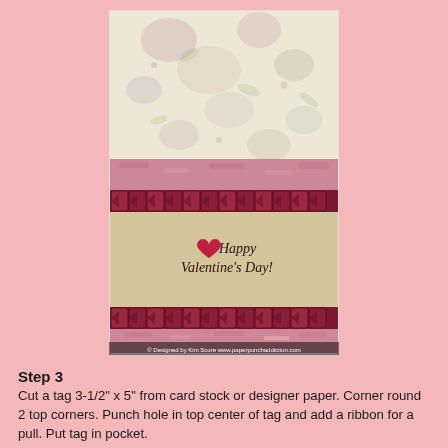[Figure (photo): A handmade Valentine's Day card with floral designer paper on top, pink mottled band, dark red ruffled ribbon trim, a kraft tag in the center reading 'Happy Valentine's Day!' with a red heart, another ruffled ribbon band below the tag, and a pink band at the bottom. Copyright text: Designed by Kim Score www.paperpunchaddiction.com]
Step 3
Cut a tag 3-1/2" x 5" from card stock or designer paper.  Corner round 2 top corners.  Punch hole in top center of tag and add a ribbon for a pull.  Put tag in pocket.